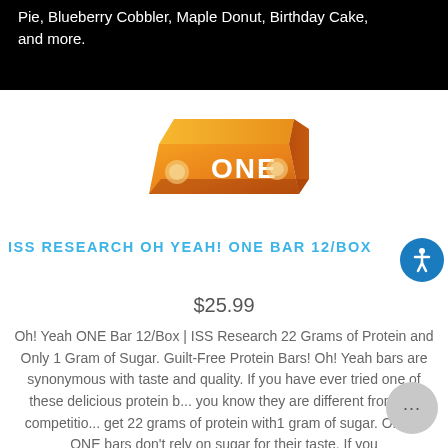Pie, Blueberry Cobbler, Maple Donut, Birthday Cake, and more.
[Figure (photo): Orange box of ISS Research Oh Yeah! ONE protein bars]
ISS RESEARCH OH YEAH! ONE BAR 12/BOX
$25.99
Oh! Yeah ONE Bar 12/Box | ISS Research 22 Grams of Protein and Only 1 Gram of Sugar. Guilt-Free Protein Bars! Oh! Yeah bars are synonymous with taste and quality. If you have ever tried one of these delicious protein b... you know they are different from the competitio... get 22 grams of protein with1 gram of sugar. Oh Y... ONE bars don't rely on sugar for their taste. If you